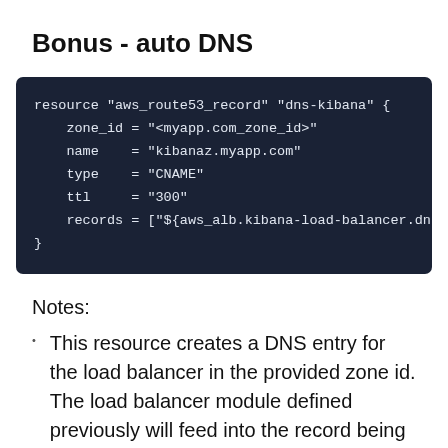Bonus - auto DNS
resource "aws_route53_record" "dns-kibana" {
    zone_id = "<myapp.com_zone_id>"
    name    = "kibanaz.myapp.com"
    type    = "CNAME"
    ttl     = "300"
    records = ["${aws_alb.kibana-load-balancer.dn
}
Notes:
This resource creates a DNS entry for the load balancer in the provided zone id. The load balancer module defined previously will feed into the record being setup here